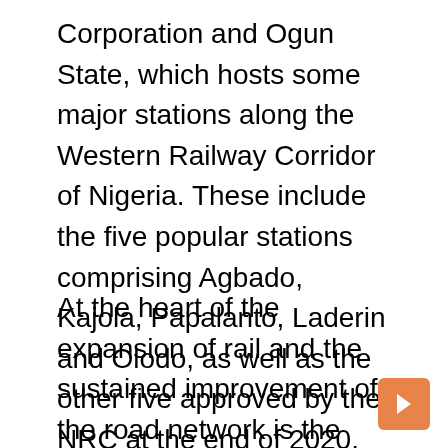Corporation and Ogun State, which hosts some major stations along the Western Railway Corridor of Nigeria. These include the five popular stations comprising Agbado, Kajola, Papalanto, Laderin and Olodo, as well as the other five approved by the NRC at the end of 2020.
At the heart of the expansion of rail and the sustained improvement of the road network is the implicit understanding of their ability to further open up rural communities. This fosters a sense of inclusion, especially in communities whose residents have long felt literally cut off from the immense opportunities that an improved road network and regular rail service